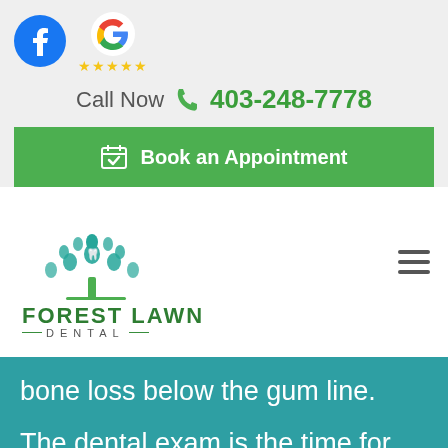[Figure (logo): Facebook logo icon (blue circle with white F)]
[Figure (logo): Google G logo with 4 gold stars below]
Call Now  📞  403-248-7778
Book an Appointment
[Figure (logo): Forest Lawn Dental logo: teal tooth/tree illustration above text FOREST LAWN DENTAL]
bone loss below the gum line.
The dental exam is the time for you to ask your dentist about any concerns you may have.